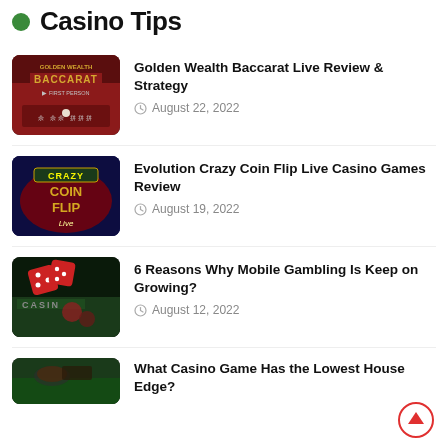Casino Tips
Golden Wealth Baccarat Live Review & Strategy — August 22, 2022
Evolution Crazy Coin Flip Live Casino Games Review — August 19, 2022
6 Reasons Why Mobile Gambling Is Keep on Growing? — August 12, 2022
What Casino Game Has the Lowest House Edge?